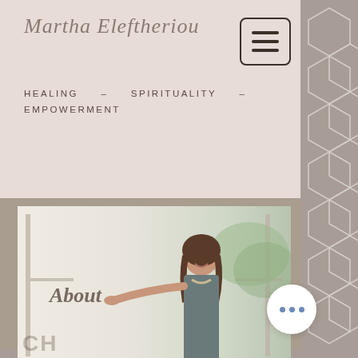Martha Eleftheriou
HEALING – SPIRITUALITY – EMPOWERMENT
[Figure (photo): Banner photo of a woman smiling with arms outstretched, with 'About' label overlaid in italic script]
I am a Life Coach and Mentor, Yoga teacher and Reiki Master. I love life and strive to live a life with passion, fulfillment and love! My focus is to inspire others into living a life they truly love by tapping into their full potential and uncovering they're truly passionate about. I belie... can only be fulfilled when we are